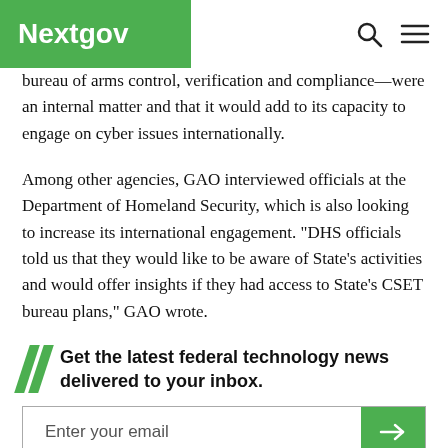Nextgov
bureau of arms control, verification and compliance—were an internal matter and that it would add to its capacity to engage on cyber issues internationally.
Among other agencies, GAO interviewed officials at the Department of Homeland Security, which is also looking to increase its international engagement. "DHS officials told us that they would like to be aware of State's activities and would offer insights if they had access to State's CSET bureau plans," GAO wrote.
Get the latest federal technology news delivered to your inbox.
Enter your email
The report said potential negative effects include increased